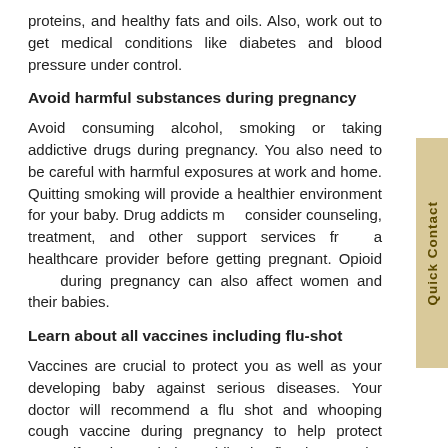proteins, and healthy fats and oils. Also, work out to get medical conditions like diabetes and blood pressure under control.
Avoid harmful substances during pregnancy
Avoid consuming alcohol, smoking or taking addictive drugs during pregnancy. You also need to be careful with harmful exposures at work and home. Quitting smoking will provide a healthier environment for your baby. Drug addicts may consider counseling, treatment, and other support services from a healthcare provider before getting pregnant. Opioid use during pregnancy can also affect women and their babies.
Learn about all vaccines including flu-shot
Vaccines are crucial to protect you as well as your developing baby against serious diseases. Your doctor will recommend a flu shot and whooping cough vaccine during pregnancy to help protect yourself and your baby. While the flu shot can be taken